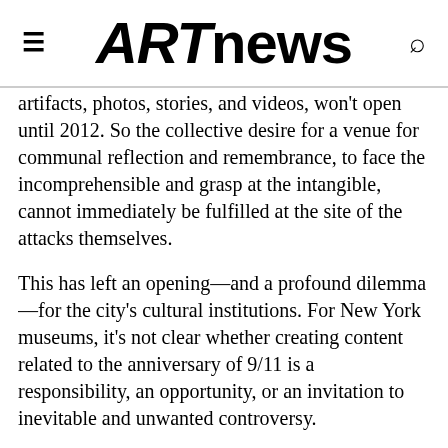ARTnews
artifacts, photos, stories, and videos, won't open until 2012. So the collective desire for a venue for communal reflection and remembrance, to face the incomprehensible and grasp at the intangible, cannot immediately be fulfilled at the site of the attacks themselves.
This has left an opening—and a profound dilemma—for the city's cultural institutions. For New York museums, it's not clear whether creating content related to the anniversary of 9/11 is a responsibility, an opportunity, or an invitation to inevitable and unwanted controversy.
In the aftermath of 9/11, it quickly became clear that art about or at Ground Zero was perceived by many as subject to a vetting process by constituencies